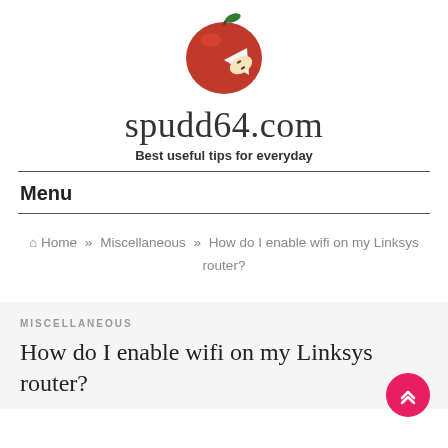[Figure (illustration): Red apple with a wedge cut out, logo for spudd64.com]
spudd64.com
Best useful tips for everyday
Menu
Home » Miscellaneous » How do I enable wifi on my Linksys router?
MISCELLANEOUS
How do I enable wifi on my Linksys router?